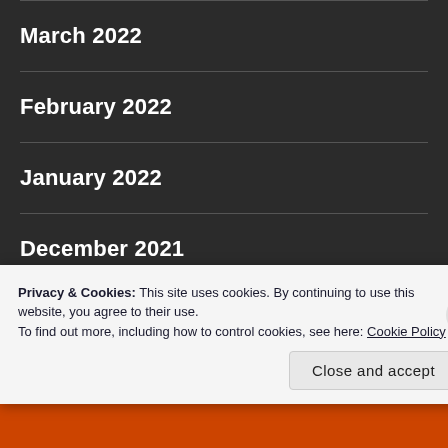March 2022
February 2022
January 2022
December 2021
November 2021
Privacy & Cookies: This site uses cookies. By continuing to use this website, you agree to their use.
To find out more, including how to control cookies, see here: Cookie Policy